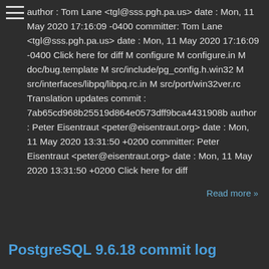author : Tom Lane <tgl@sss.pgh.pa.us> date : Mon, 11 May 2020 17:16:09 -0400 committer: Tom Lane <tgl@sss.pgh.pa.us> date : Mon, 11 May 2020 17:16:09 -0400 Click here for diff M configure M configure.in M doc/bug.template M src/include/pg_config.h.win32 M src/interfaces/libpq/libpq.rc.in M src/port/win32ver.rc Translation updates commit : 7ab65cd968b25519d864e0573dff9bca4431908b author : Peter Eisentraut <peter@eisentraut.org> date : Mon, 11 May 2020 13:31:50 +0200 committer: Peter Eisentraut <peter@eisentraut.org> date : Mon, 11 May 2020 13:31:50 +0200 Click here for diff
Read more »
PostgreSQL 9.6.18 commit log